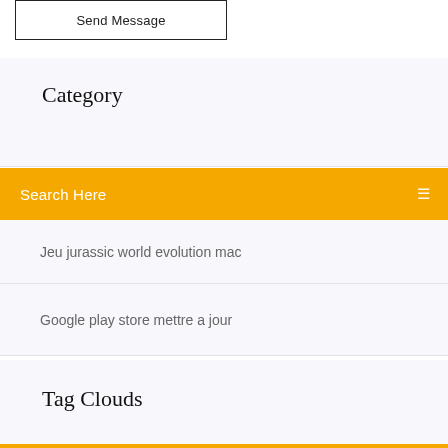[Figure (screenshot): Send Message button with black border]
Category
Search Here
Jeu jurassic world evolution mac
Google play store mettre a jour
Tag Clouds